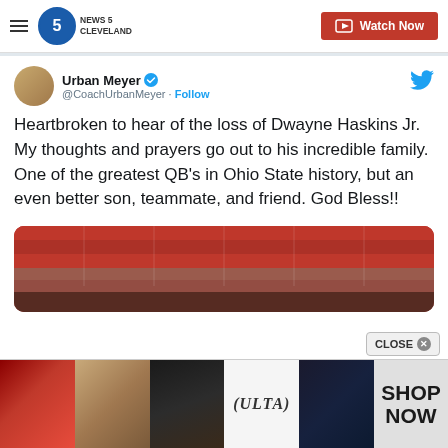NEWS 5 CLEVELAND — Watch Now
Urban Meyer @CoachUrbanMeyer · Follow
Heartbroken to hear of the loss of Dwayne Haskins Jr. My thoughts and prayers go out to his incredible family. One of the greatest QB's in Ohio State history, but an even better son, teammate, and friend. God Bless!!
[Figure (photo): Stadium crowd photo partially visible, red seats]
[Figure (photo): Ulta Beauty advertisement banner with makeup imagery and SHOP NOW call to action]